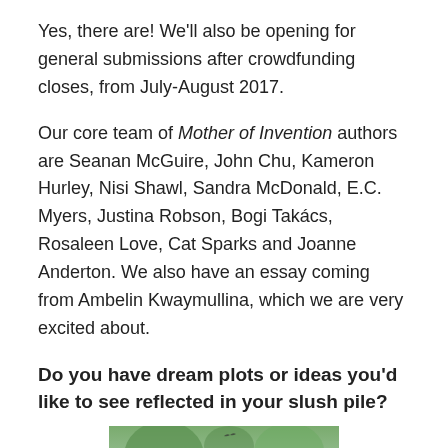Yes, there are! We'll also be opening for general submissions after crowdfunding closes, from July-August 2017.
Our core team of Mother of Invention authors are Seanan McGuire, John Chu, Kameron Hurley, Nisi Shawl, Sandra McDonald, E.C. Myers, Justina Robson, Bogi Takács, Rosaleen Love, Cat Sparks and Joanne Anderton. We also have an essay coming from Ambelin Kwaymullina, which we are very excited about.
Do you have dream plots or ideas you'd like to see reflected in your slush pile?
[Figure (photo): Partial photo of a person with grey/silver hair outdoors with trees in background, cropped at bottom of page]